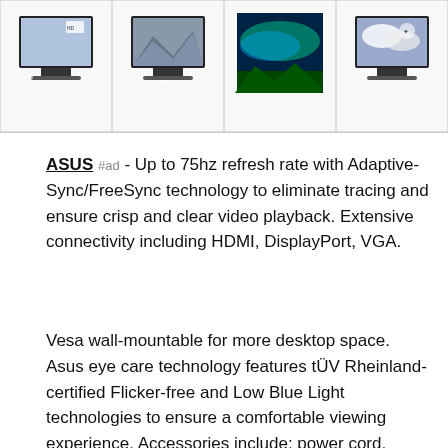[Figure (photo): Row of four monitor product images showing ASUS displays]
ASUS #ad - Up to 75hz refresh rate with Adaptive-Sync/FreeSync technology to eliminate tracing and ensure crisp and clear video playback. Extensive connectivity including HDMI, DisplayPort, VGA.
Vesa wall-mountable for more desktop space. Asus eye care technology features tÜV Rheinland-certified Flicker-free and Low Blue Light technologies to ensure a comfortable viewing experience. Accessories include: power cord, DisplayPort cable. Warranty card. HDMI cable. Quick Start Guide.
As an Amazon Associate I earn from qualifying purchases. This website uses the only necessary cookies to ensure you get the best experience on our website. More information
Sup cards and freesync with AMD Radeon graphics cards